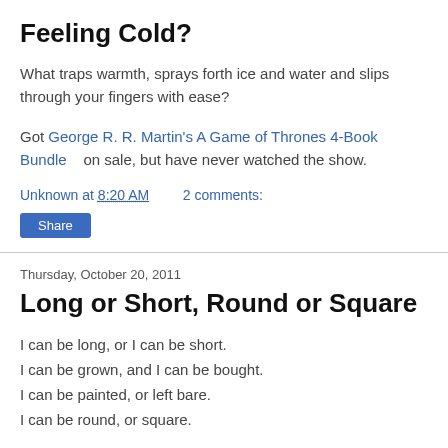Feeling Cold?
What traps warmth, sprays forth ice and water and slips through your fingers with ease?
Got George R. R. Martin's A Game of Thrones 4-Book Bundle on sale, but have never watched the show.
Unknown at 8:20 AM   2 comments:
Share
Thursday, October 20, 2011
Long or Short, Round or Square
I can be long, or I can be short.
I can be grown, and I can be bought.
I can be painted, or left bare.
I can be round, or square.